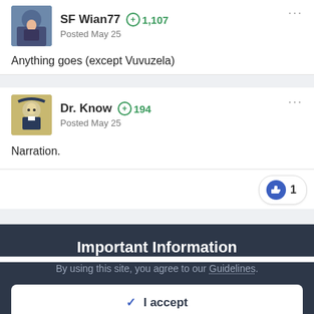SF Wian77 +1,107 Posted May 25
Anything goes (except Vuvuzela)
Dr. Know +194 Posted May 25
Narration.
1
Important Information
By using this site, you agree to our Guidelines.
✓ I accept